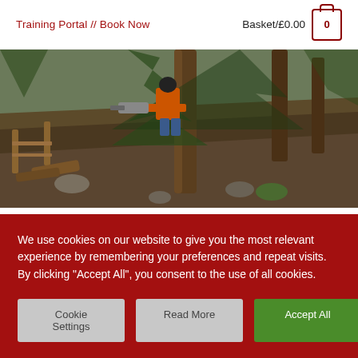Training Portal // Book Now    Basket/£0.00  0
[Figure (photo): A person in safety gear using a chainsaw on a steep forested hillside with pine trees and wooden fence posts.]
We use cookies on our website to give you the most relevant experience by remembering your preferences and repeat visits. By clicking "Accept All", you consent to the use of all cookies.
Cookie Settings   Read More   Accept All